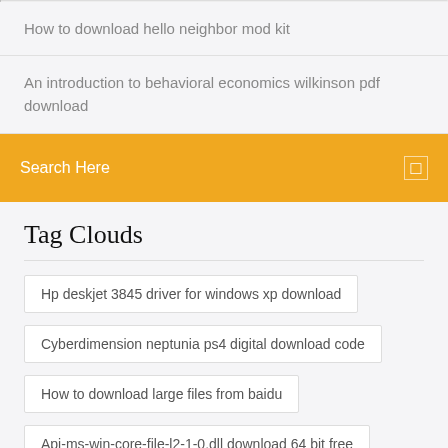How to download hello neighbor mod kit
An introduction to behavioral economics wilkinson pdf download
Search Here
Tag Clouds
Hp deskjet 3845 driver for windows xp download
Cyberdimension neptunia ps4 digital download code
How to download large files from baidu
Api-ms-win-core-file-l2-1-0.dll download 64 bit free